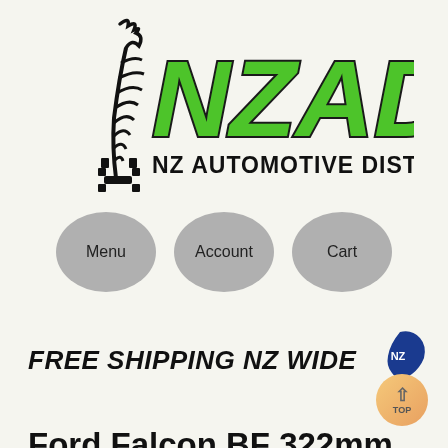[Figure (logo): NZAD - NZ Automotive Distributors logo with green bold lettering and silver fern icon]
[Figure (infographic): Three grey oval navigation buttons: Menu, Account, Cart]
[Figure (infographic): FREE SHIPPING NZ WIDE text with New Zealand map icon]
Ford Falcon BF 322mm XR6T XR8 Slotted Rotors